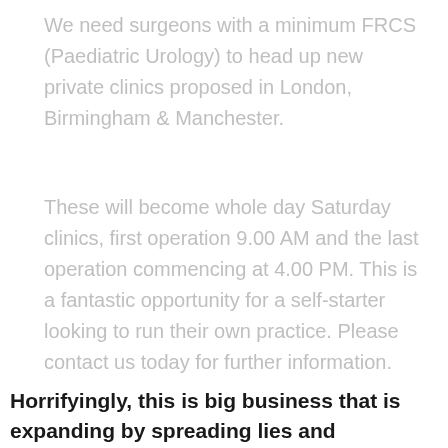We need surgeons with a minimum FRCS (Paediatric Urology) to head up new private clinics proposed in London, Birmingham & Manchester.
These will become whole day Saturday clinics, first operation 9.00 AM and the last operation commencing at 4.00 PM. This is a fantastic opportunity for a self-starter looking to run their own practice. Please contact us today for further information.
Horrifyingly, this is big business that is expanding by spreading lies and